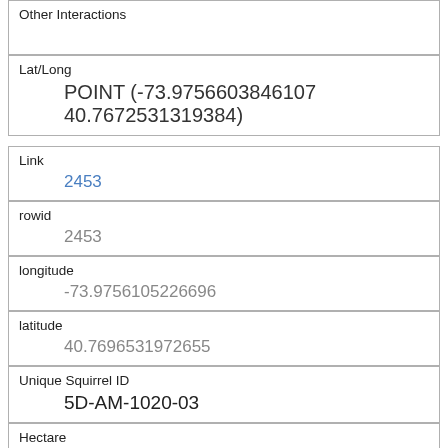| Other Interactions |  |
| Lat/Long | POINT (-73.9756603846107 40.7672531319384) |
| Link | 2453 |
| rowid | 2453 |
| longitude | -73.9756105226696 |
| latitude | 40.7696531972655 |
| Unique Squirrel ID | 5D-AM-1020-03 |
| Hectare | 05D |
| Shift | AM |
| Date | 10202018 |